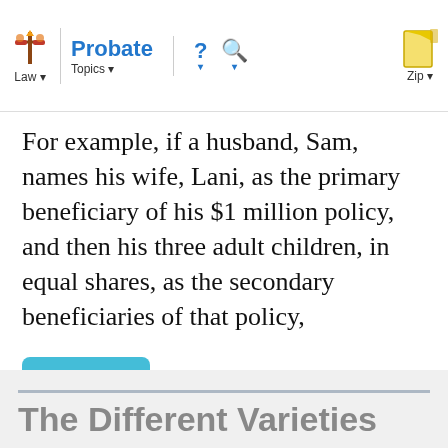Law | Probate Topics | ? | Search | Zip
For example, if a husband, Sam, names his wife, Lani, as the primary beneficiary of his $1 million policy, and then his three adult children, in equal shares, as the secondary beneficiaries of that policy,
more...
The Different Varieties